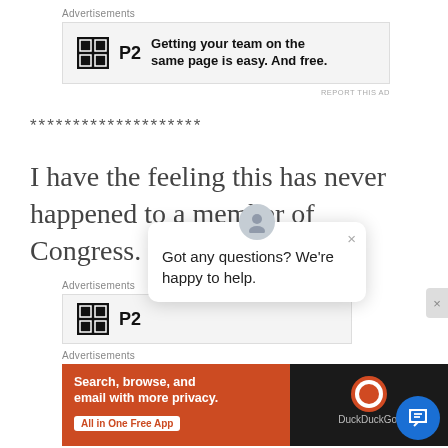Advertisements
[Figure (screenshot): P2 advertisement banner: logo with grid icon and 'P2' text, tagline 'Getting your team on the same page is easy. And free.']
REPORT THIS AD
********************
I have the feeling this has never happened to a member of Congress.
Advertisements
[Figure (screenshot): P2 advertisement banner partial view]
Advertisements
[Figure (screenshot): DuckDuckGo advertisement: 'Search, browse, and email with more privacy. All in One Free App' with DuckDuckGo logo on phone]
[Figure (screenshot): Chat popup overlay: avatar icon, close X button, text 'Got any questions? We're happy to help.']